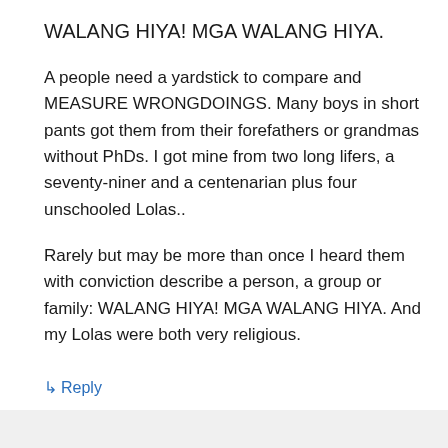WALANG HIYA! MGA WALANG HIYA.
A people need a yardstick to compare and MEASURE WRONGDOINGS. Many boys in short pants got them from their forefathers or grandmas without PhDs. I got mine from two long lifers, a seventy-niner and a centenarian plus four unschooled Lolas..
Rarely but may be more than once I heard them with conviction describe a person, a group or family: WALANG HIYA! MGA WALANG HIYA. And my Lolas were both very religious.
↳ Reply